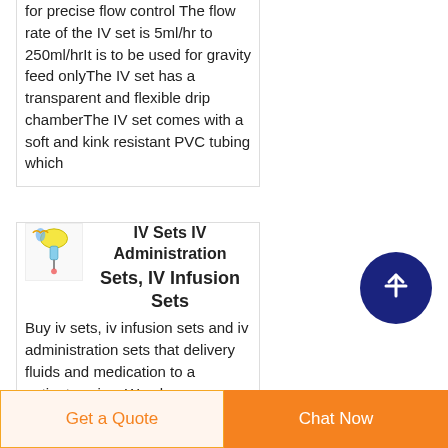for precise flow control The flow rate of the IV set is 5ml/hr to 250ml/hrIt is to be used for gravity feed onlyThe IV set has a transparent and flexible drip chamberThe IV set comes with a soft and kink resistant PVC tubing which
IV Sets IV Administration Sets, IV Infusion Sets
Buy iv sets, iv infusion sets and iv administration sets that delivery fluids and medication to a patients veins. We also
[Figure (illustration): Product icon showing IV drip/infusion set illustration]
[Figure (illustration): Dark blue circular scroll-to-top button with upward arrow]
Get a Quote
Chat Now